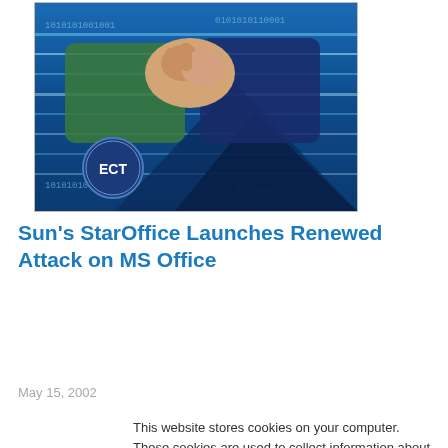[Figure (photo): Photo showing two people arm-wrestling with binary code / digital background and ECT logo badge in lower left corner]
Sun’s StarOffice Launches Renewed Attack on MS Office
May 15, 2002
This website stores cookies on your computer. These cookies are used to collect information about how you interact with our website and allow us to remember you. We use this information in order to improve and customize your browsing experience and for analytics and metrics about our visitors both on this website and other media. To find out more about the cookies we use, see our Privacy Policy. California residents have the right to direct us not to sell their personal information to third parties by filing an Opt-Out Request: Do Not Sell My Personal Info.